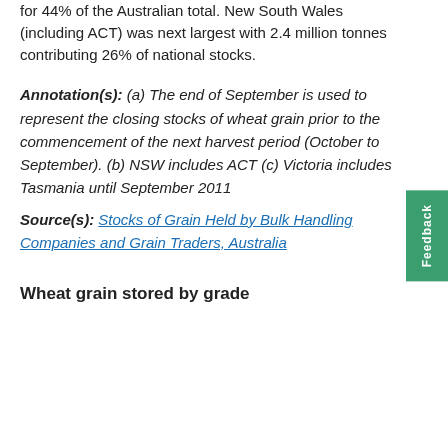for 44% of the Australian total. New South Wales (including ACT) was next largest with 2.4 million tonnes contributing 26% of national stocks.
Annotation(s): (a) The end of September is used to represent the closing stocks of wheat grain prior to the commencement of the next harvest period (October to September). (b) NSW includes ACT (c) Victoria includes Tasmania until September 2011
Source(s): Stocks of Grain Held by Bulk Handling Companies and Grain Traders, Australia
Wheat grain stored by grade